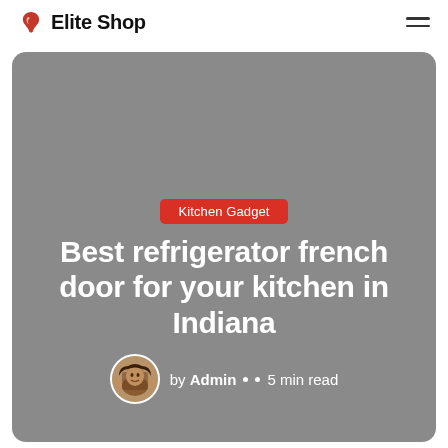Elite Shop
[Figure (illustration): Hero card with gray background showing article preview for 'Best refrigerator french door for your kitchen in Indiana' with category badge 'Kitchen Gadget' and author info 'by Admin • 5 min read']